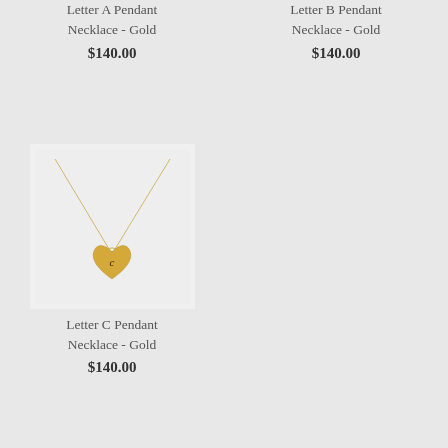Letter A Pendant Necklace - Gold
$140.00
Letter B Pendant Necklace - Gold
$140.00
[Figure (photo): Gold letter C heart-shaped pendant necklace on light grey background]
Letter C Pendant Necklace - Gold
$140.00